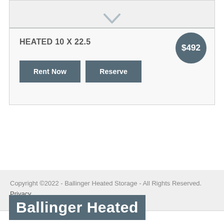[Figure (illustration): Partial view of a storage unit card showing a downward chevron icon at the top]
HEATED 10 X 22.5
$492
Rent Now   Reserve
Copyright ©2022 - Ballinger Heated Storage - All Rights Reserved.  Privacy Policy
Ballinger Heated